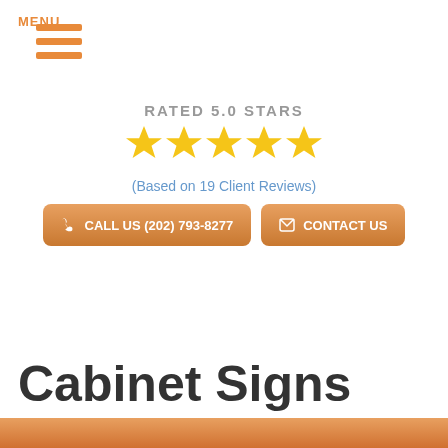[Figure (infographic): Hamburger menu icon with three orange horizontal lines and MENU label below]
RATED 5.0 STARS
[Figure (infographic): Five gold star rating icons in a row]
(Based on 19 Client Reviews)
CALL US (202) 793-8277
CONTACT US
Cabinet Signs